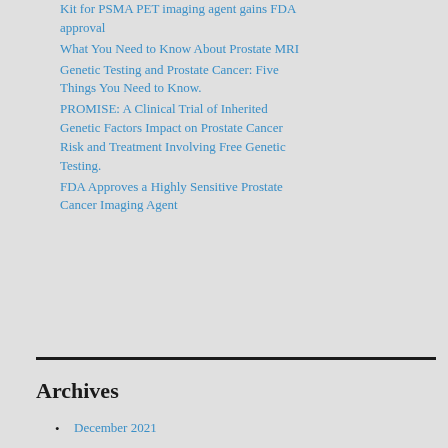Kit for PSMA PET imaging agent gains FDA approval
What You Need to Know About Prostate MRI
Genetic Testing and Prostate Cancer: Five Things You Need to Know.
PROMISE: A Clinical Trial of Inherited Genetic Factors Impact on Prostate Cancer Risk and Treatment Involving Free Genetic Testing.
FDA Approves a Highly Sensitive Prostate Cancer Imaging Agent
Archives
December 2021